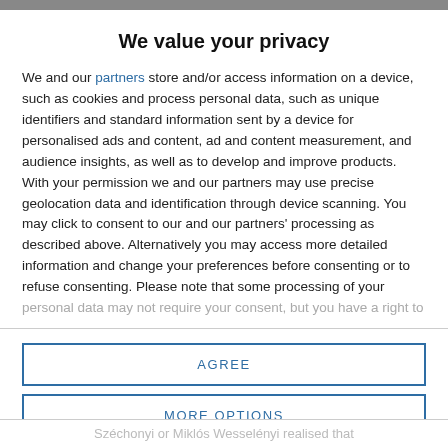We value your privacy
We and our partners store and/or access information on a device, such as cookies and process personal data, such as unique identifiers and standard information sent by a device for personalised ads and content, ad and content measurement, and audience insights, as well as to develop and improve products. With your permission we and our partners may use precise geolocation data and identification through device scanning. You may click to consent to our and our partners' processing as described above. Alternatively you may access more detailed information and change your preferences before consenting or to refuse consenting. Please note that some processing of your personal data may not require your consent, but you have a right to
AGREE
MORE OPTIONS
Széchonyi or Miklós Wesselényi realised that